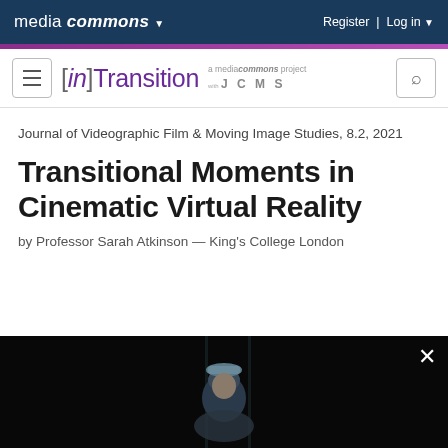media commons ▼   Register | Log in ▼
[Figure (screenshot): [in]Transition site header with hamburger menu, logo, media commons JCMS subtitle, and search button]
Journal of Videographic Film & Moving Image Studies, 8.2, 2021
Transitional Moments in Cinematic Virtual Reality
by Professor Sarah Atkinson — King's College London
[Figure (photo): Dark video frame showing a person wearing a light-colored cap, with a close button (×) in the top right]